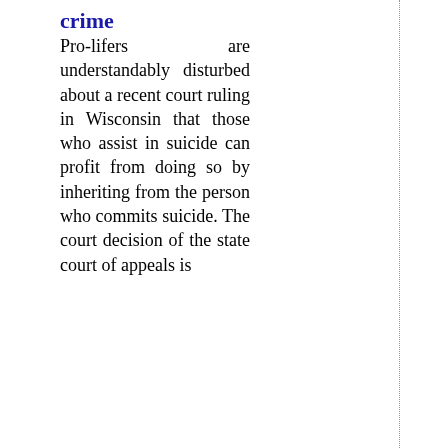crime
Pro-lifers are understandably disturbed about a recent court ruling in Wisconsin that those who assist in suicide can profit from doing so by inheriting from the person who commits suicide. The court decision of the state court of appeals is